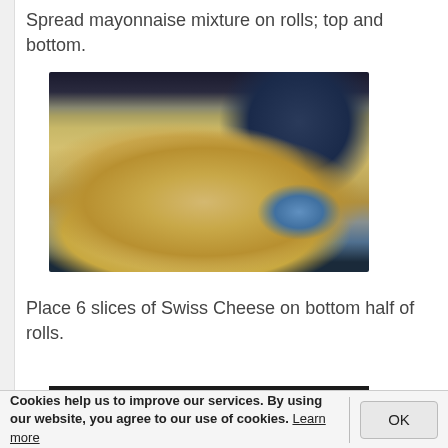Spread mayonnaise mixture on rolls; top and bottom.
[Figure (photo): Bread rolls spread with mayonnaise mixture on a foil-lined tray, with a blue spreader/knife visible]
Place 6 slices of Swiss Cheese on bottom half of rolls.
[Figure (photo): Partial view of next step photo, mostly dark]
Cookies help us to improve our services. By using our website, you agree to our use of cookies. Learn more